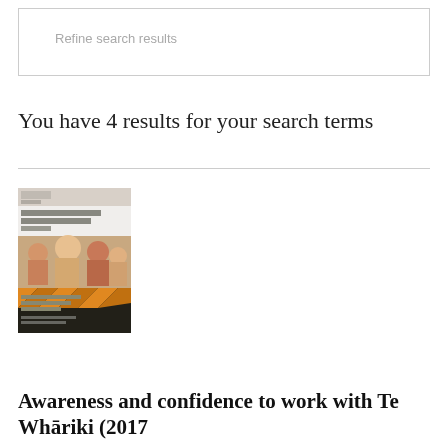Refine search results
You have 4 results for your search terms
[Figure (photo): Book cover thumbnail: 'Awareness and confidence to work with Te Whāriki' report cover showing children and educators, with a dark bottom section and orange/yellow accents]
Awareness and confidence to work with Te Whāriki (2017)